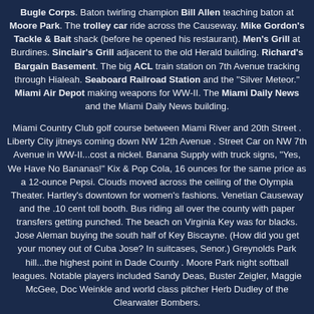Bugle Corps. Baton twirling champion Bill Allen teaching baton at Moore Park. The trolley car ride across the Causeway. Mike Gordon's Tackle & Bait shack (before he opened his restaurant). Men's Grill at Burdines. Sinclair's Grill adjacent to the old Herald building. Richard's Bargain Basement. The big ACL train station on 7th Avenue tracking through Hialeah. Seaboard Railroad Station and the "Silver Meteor." Miami Air Depot making weapons for WW-II. The Miami Daily News and the Miami Daily News building.
Miami Country Club golf course between Miami River and 20th Street . Liberty City jitneys coming down NW 12th Avenue . Street Car on NW 7th Avenue in WW-II...cost a nickel. Banana Supply with truck signs, "Yes, We Have No Bananas!" Kix & Pop Cola, 16 ounces for the same price as a 12-ounce Pepsi. Clouds moved across the ceiling of the Olympia Theater. Hartley's downtown for women's fashions. Venetian Causeway and the .10 cent toll booth. Bus riding all over the county with paper transfers getting punched. The beach on Virginia Key was for blacks. Jose Aleman buying the south half of Key Biscayne. (How did you get your money out of Cuba Jose? In suitcases, Senor.) Greynolds Park hill...the highest point in Dade County . Moore Park night softball leagues. Notable players included Sandy Deas, Buster Zeigler, Maggie McGee, Doc Weinkle and world class pitcher Herb Dudley of the Clearwater Bombers.
79th Street Causeway going to 71st Street Beach. Walt Disney studio on NW 17 Street and 28th Avenue . Warning signs about roasting marshmallows with oleander sticks. Merita Bakery on NW 6th Avenue ...great smells. Monroe 's Grocery store. Burdine's installing the state's first escalator. The Parrot Jungle... Absolutely nothing west of the airport until Doral. Orange Bowl: HS football Thursday nights, UM Friday nights Bill Baggs, Jack Bell, Jack Kofoed, Vic Dunaway and Salty Mallants ("Salty